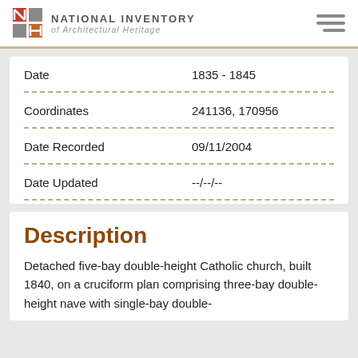National Inventory of Architectural Heritage
| Field | Value |
| --- | --- |
| Date | 1835 - 1845 |
| Coordinates | 241136, 170956 |
| Date Recorded | 09/11/2004 |
| Date Updated | --/--/-- |
Description
Detached five-bay double-height Catholic church, built 1840, on a cruciform plan comprising three-bay double-height nave with single-bay double-